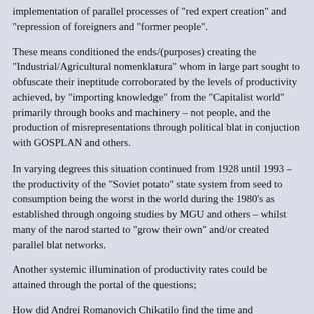implementation of parallel processes of "red expert creation" and "repression of foreigners and "former people".
These means conditioned the ends/(purposes) creating the "Industrial/Agricultural nomenklatura" whom in large part sought to obfuscate their ineptitude corroborated by the levels of productivity achieved, by "importing knowledge" from the "Capitalist world" primarily through books and machinery – not people, and the production of misrepresentations through political blat in conjuction with GOSPLAN and others.
In varying degrees this situation continued from 1928 until 1993 – the productivity of the "Soviet potato" state system from seed to consumption being the worst in the world during the 1980's as established through ongoing studies by MGU and others – whilst many of the narod started to "grow their own" and/or created parallel blat networks.
Another systemic illumination of productivity rates could be attained through the portal of the questions;
How did Andrei Romanovich Chikatilo find the time and opportunities to kill at least 56 people, and how was this represented ?
To experienced practitioners not engaged in misrepresentations, the writers you cite were not and continue not to be deemed "impressive", whilst the